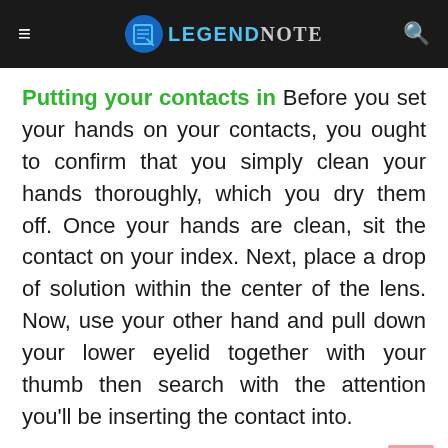LEGEND NOTE
Putting your contacts in Before you set your hands on your contacts, you ought to confirm that you simply clean your hands thoroughly, which you dry them off. Once your hands are clean, sit the contact on your index. Next, place a drop of solution within the center of the lens. Now, use your other hand and pull down your lower eyelid together with your thumb then search with the attention you'll be inserting the contact into.
Take your index with the contact thereon